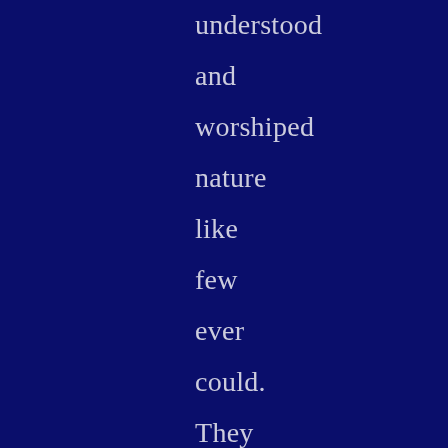understood and worshiped nature like few ever could. They died protecting their way of life, and I hope my work captures their